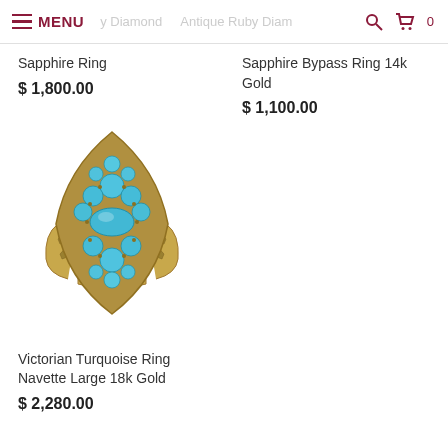MENU | Diamond | Antique Ruby Diam... | 0
Sapphire Ring
$ 1,800.00
Sapphire Bypass Ring 14k Gold
$ 1,100.00
[Figure (photo): Victorian turquoise navette ring with multiple turquoise cabochon stones set in gold, marquise-shaped bezel with leaf details on the band]
Victorian Turquoise Ring Navette Large 18k Gold
$ 2,280.00